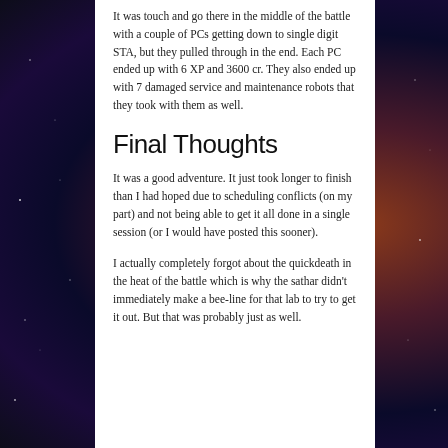It was touch and go there in the middle of the battle with a couple of PCs getting down to single digit STA, but they pulled through in the end. Each PC ended up with 6 XP and 3600 cr. They also ended up with 7 damaged service and maintenance robots that they took with them as well.
Final Thoughts
It was a good adventure. It just took longer to finish than I had hoped due to scheduling conflicts (on my part) and not being able to get it all done in a single session (or I would have posted this sooner).
I actually completely forgot about the quickdeath in the heat of the battle which is why the sathar didn't immediately make a bee-line for that lab to try to get it out. But that was probably just as well.